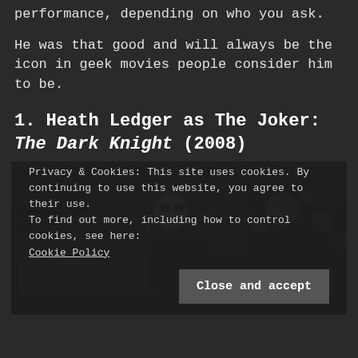performance, depending on who you ask.
He was that good and will always be the icon in geek movies people consider him to be.
1. Heath Ledger as The Joker: The Dark Knight (2008)
[Figure (photo): Photo of Heath Ledger as The Joker in The Dark Knight (2008), leaning out of a police car window at night in a city setting with bokeh lights in background]
Privacy & Cookies: This site uses cookies. By continuing to use this website, you agree to their use.
To find out more, including how to control cookies, see here: Cookie Policy
Close and accept